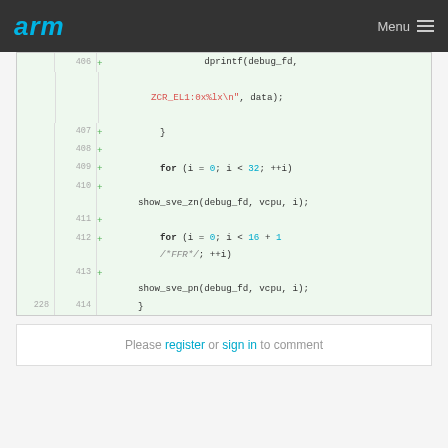arm   Menu
[Figure (screenshot): Code diff view showing lines 406-414 of a C source file with added lines (marked with +) including dprintf debug output, for loops, show_sve_zn and show_sve_pn function calls]
Please register or sign in to comment